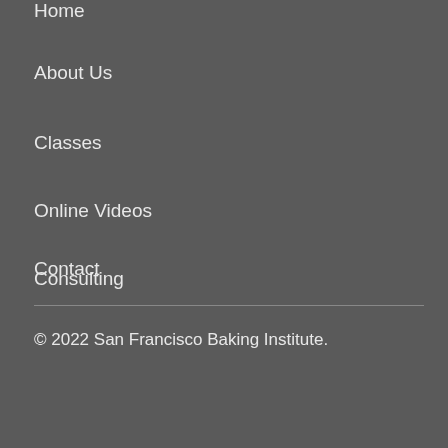Home
About Us
Classes
Online Videos
Consulting
Contact
© 2022 San Francisco Baking Institute.